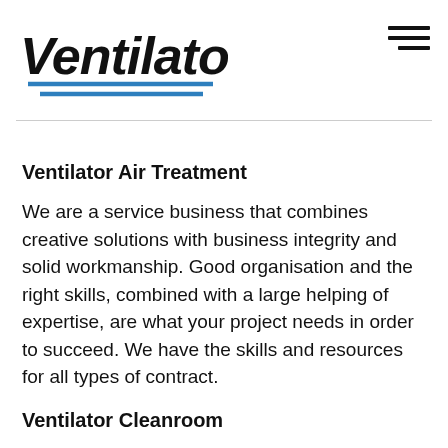[Figure (logo): Ventilator company logo in bold italic black text with two blue diagonal lines beneath]
Ventilator Air Treatment
We are a service business that combines creative solutions with business integrity and solid workmanship. Good organisation and the right skills, combined with a large helping of expertise, are what your project needs in order to succeed. We have the skills and resources for all types of contract.
Ventilator Cleanroom